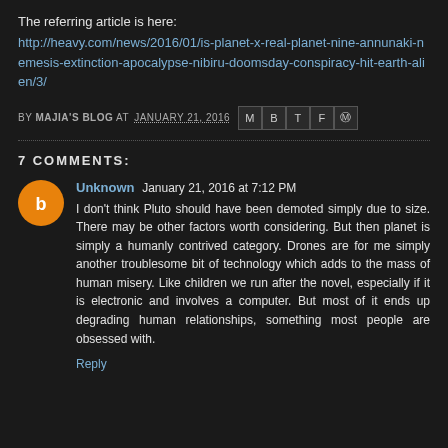The referring article is here:
http://heavy.com/news/2016/01/is-planet-x-real-planet-nine-annunaki-nemesis-extinction-apocalypse-nibiru-doomsday-conspiracy-hit-earth-alien/3/
BY MAJIA'S BLOG AT JANUARY 21, 2016
7 COMMENTS:
Unknown January 21, 2016 at 7:12 PM
I don't think Pluto should have been demoted simply due to size. There may be other factors worth considering. But then planet is simply a humanly contrived category. Drones are for me simply another troublesome bit of technology which adds to the mass of human misery. Like children we run after the novel, especially if it is electronic and involves a computer. But most of it ends up degrading human relationships, something most people are obsessed with.
Reply